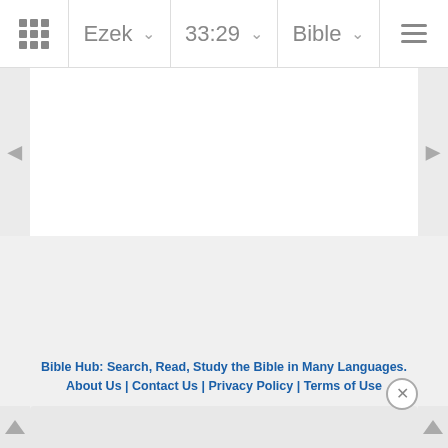Ezek  33:29  Bible
[Figure (screenshot): Bible Hub mobile web app navigation bar with grid icon, book selector showing 'Ezek', chapter:verse selector showing '33:29', Bible translation selector showing 'Bible', and hamburger menu. Main area is blank/white. Left and right navigation arrows on sides. Gray content area below. Footer shows 'Bible Hub: Search, Read, Study the Bible in Many Languages' and 'About Us | Contact Us | Privacy Policy | Terms of Use'. A close (X) button overlay and a popup box at the bottom.]
Bible Hub: Search, Read, Study the Bible in Many Languages
About Us | Contact Us | Privacy Policy | Terms of Use